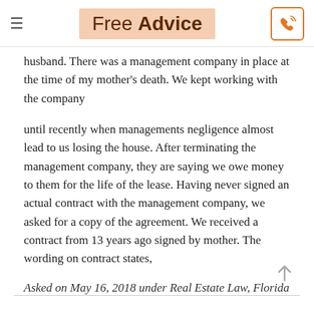Free Advice
husband. There was a management company in place at the time of my mother's death. We kept working with the company
until recently when managements negligence almost lead to us losing the house. After terminating the management company, they are saying we owe money to them for the life of the lease. Having never signed an actual contract with the management company, we asked for a copy of the agreement. We received a contract from 13 years ago signed by mother. The wording on contract states,
Asked on May 16, 2018 under Real Estate Law, Florida